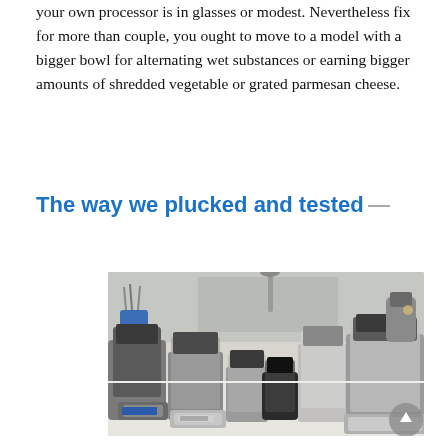your own processor is in glasses or modest. Nevertheless fix for more than couple, you ought to move to a model with a bigger bowl for alternating wet substances or earning bigger amounts of shredded vegetable or grated parmesan cheese.
The way we plucked and tested
[Figure (photo): A photo of multiple food processors and kitchen appliances arranged on a white countertop in a kitchen setting. Various sizes and brands of food processors with clear bowls and metallic bases are displayed, with kitchen utensils and appliances visible in the background.]